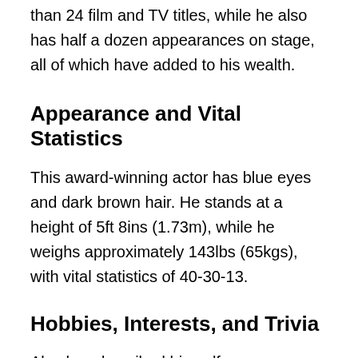than 24 film and TV titles, while he also has half a dozen appearances on stage, all of which have added to his wealth.
Appearance and Vital Statistics
This award-winning actor has blue eyes and dark brown hair. He stands at a height of 5ft 8ins (1.73m), while he weighs approximately 143lbs (65kgs), with vital statistics of 40-30-13.
Hobbies, Interests, and Trivia
Alex has described himself as technophobic,